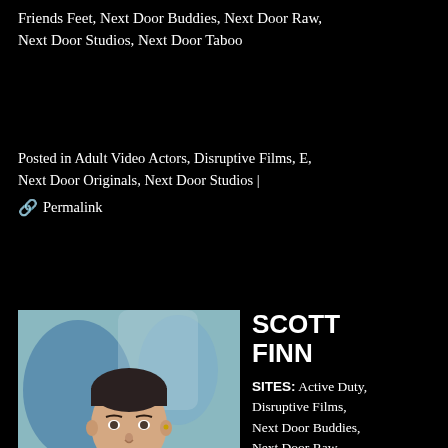Friends Feet, Next Door Buddies, Next Door Raw, Next Door Studios, Next Door Taboo
Posted in Adult Video Actors, Disruptive Films, E, Next Door Originals, Next Door Studios | 🔗 Permalink
[Figure (photo): Headshot photo of Scott Finn, a young man with short dark hair, smiling, shirtless, in front of an abstract blue/white background]
SCOTT FINN
SITES: Active Duty, Disruptive Films, Next Door Buddies, Next Door Raw, Next Door Studios, Next Door Twink